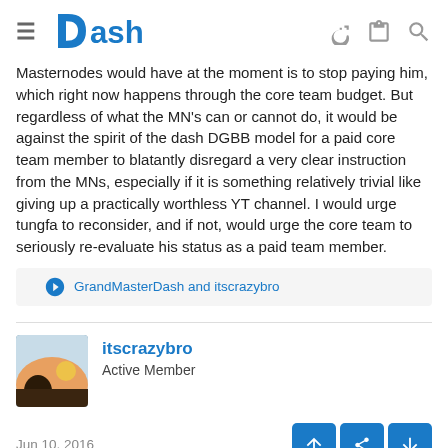Dash
Masternodes would have at the moment is to stop paying him, which right now happens through the core team budget. But regardless of what the MN's can or cannot do, it would be against the spirit of the dash DGBB model for a paid core team member to blatantly disregard a very clear instruction from the MNs, especially if it is something relatively trivial like giving up a practically worthless YT channel. I would urge tungfa to reconsider, and if not, would urge the core team to seriously re-evaluate his status as a paid team member.
GrandMasterDash and itscrazybro
itscrazybro
Active Member
Jun 10, 2016
There should be no argument here.